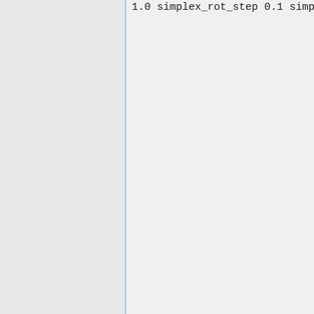1.0
simplex_rot_step
0.1
simplex_tors_step
10.0
simplex_anchor_max_iterations
500
simplex_grow_max_iterations
20
simplex_grow_tors_premin_iterat
20
simplex_random_seed
0
simplex_restraint_min
no
atom_model
all
vdw_defn_file
vdw_AMBER_parm99.defn
flex_defn_file
flex.defn
flex_drive_file
flex_drive.tbl
ligand_outfile_prefix
flex